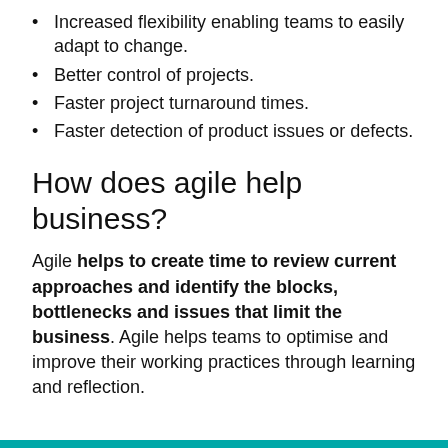Increased flexibility enabling teams to easily adapt to change.
Better control of projects.
Faster project turnaround times.
Faster detection of product issues or defects.
How does agile help business?
Agile helps to create time to review current approaches and identify the blocks, bottlenecks and issues that limit the business. Agile helps teams to optimise and improve their working practices through learning and reflection.